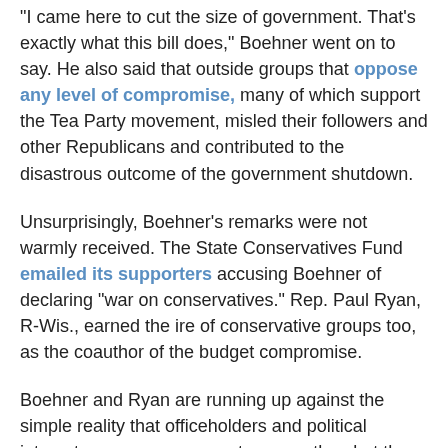"I came here to cut the size of government. That's exactly what this bill does," Boehner went on to say. He also said that outside groups that oppose any level of compromise, many of which support the Tea Party movement, misled their followers and other Republicans and contributed to the disastrous outcome of the government shutdown.
Unsurprisingly, Boehner's remarks were not warmly received. The State Conservatives Fund emailed its supporters accusing Boehner of declaring "war on conservatives." Rep. Paul Ryan, R-Wis., earned the ire of conservative groups too, as the coauthor of the budget compromise.
Boehner and Ryan are running up against the simple reality that officeholders and political interest groups may support one another, but they have fundamentally different goals. As Boehner points out, the new budget agreement